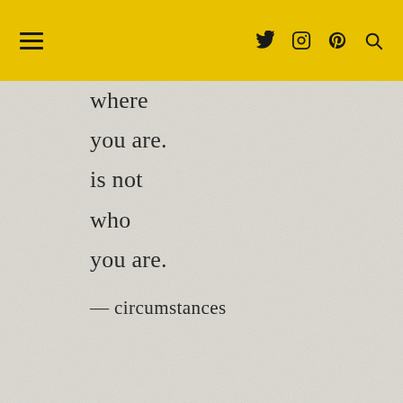≡  [twitter] [instagram] [pinterest] [search]
where
you are.
is not
who
you are.
— circumstances